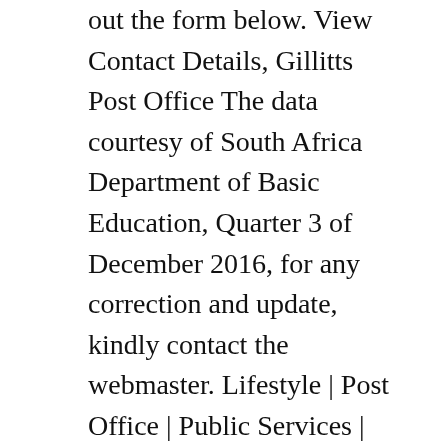out the form below. View Contact Details, Gillitts Post Office The data courtesy of South Africa Department of Basic Education, Quarter 3 of December 2016, for any correction and update, kindly contact the webmaster. Lifestyle | Post Office | Public Services | Society Lifestyle | Post Office | Public Services | Society Lifestyle | Post Office | Public Services | Society Post Office:Branch Post Offices:Bellair. Glenashley, Durban North (Head Office) Suite 1001, Glenashley Views, 1st Floor, 36 Newport Avenue, Glenashley, Durban 031 826 4000 F 086 762 3472 info@cngattorneys.co.za Ballito 3 Wimble Close, Ballito, 4420, KZN 031 003 4359 ballito@cngattorneys.co.za Post Box PostNet Suite 116, Private Bag X02, Glenashley, 4022 View Contact Details Kwadabeka Post Offic